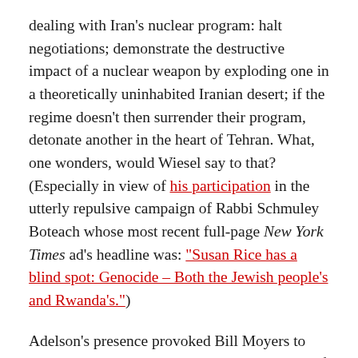dealing with Iran's nuclear program: halt negotiations; demonstrate the destructive impact of a nuclear weapon by exploding one in a theoretically uninhabited Iranian desert; if the regime doesn't then surrender their program, detonate another in the heart of Tehran. What, one wonders, would Wiesel say to that? (Especially in view of his participation in the utterly repulsive campaign of Rabbi Schmuley Boteach whose most recent full-page New York Times ad's headline was: "Susan Rice has a blind spot: Genocide – Both the Jewish people's and Rwanda's.")
Adelson's presence provoked Bill Moyers to write a trenchant commentary about the state of U.S. politics today, focusing on a very important point